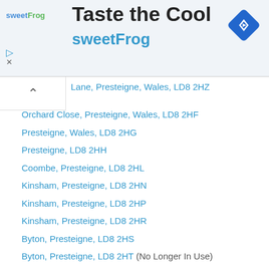[Figure (other): sweetFrog advertisement banner with logo, 'Taste the Cool' heading, blue navigation icon, and close/play controls]
Lane, Presteigne, Wales, LD8 2HZ (partial, truncated at top)
Orchard Close, Presteigne, Wales, LD8 2HF
Presteigne, Wales, LD8 2HG
Presteigne, LD8 2HH
Coombe, Presteigne, LD8 2HL
Kinsham, Presteigne, LD8 2HN
Kinsham, Presteigne, LD8 2HP
Kinsham, Presteigne, LD8 2HR
Byton, Presteigne, LD8 2HS
Byton, Presteigne, LD8 2HT (No Longer In Use)
Byton, Presteigne, LD8 2HU
Kinsham, Presteigne, LD8 2HW
Maes Corton, Presteigne, Wales, LD8 2HX